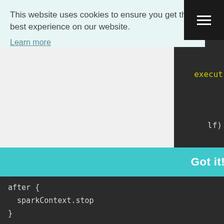This website uses cookies to ensure you get the best experience on our website.
Learn more
Got it!
execut
lf)
after {
  sparkContext.stop
}
X
You want to learn data engineering but have no idea where and how to start in this wide domain? Check Become a Data Engineer course, it can help you 🙂
Join the class!